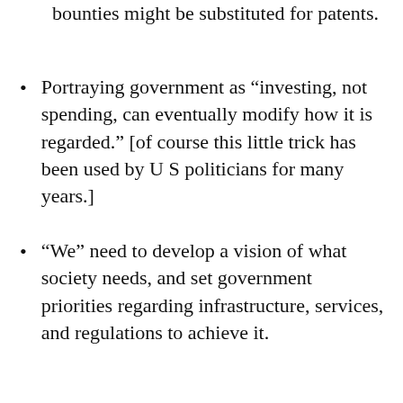bounties might be substituted for patents.
Portraying government as “investing, not spending, can eventually modify how it is regarded.” [of course this little trick has been used by U S politicians for many years.]
“We” need to develop a vision of what society needs, and set government priorities regarding infrastructure, services, and regulations to achieve it.
...